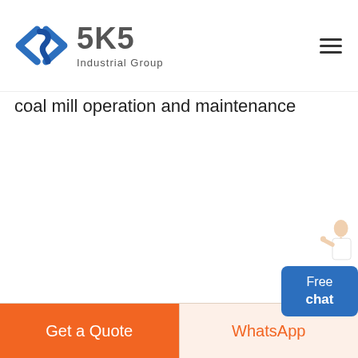[Figure (logo): SKS Industrial Group logo with blue angular bracket/diamond icon and grey SKS text with 'Industrial Group' tagline]
coal mill operation and maintenance
[Figure (infographic): Free chat button widget with person/agent illustration above a blue rounded rectangle showing 'Free chat']
Get a Quote
WhatsApp